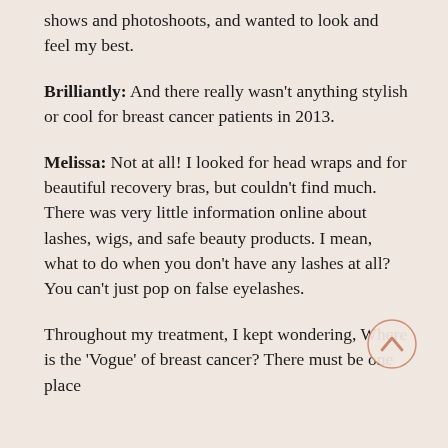shows and photoshoots, and wanted to look and feel my best.
Brilliantly: And there really wasn't anything stylish or cool for breast cancer patients in 2013.
Melissa: Not at all! I looked for head wraps and for beautiful recovery bras, but couldn't find much. There was very little information online about lashes, wigs, and safe beauty products. I mean, what to do when you don't have any lashes at all? You can't just pop on false eyelashes.
Throughout my treatment, I kept wondering, Where is the 'Vogue' of breast cancer? There must be one place